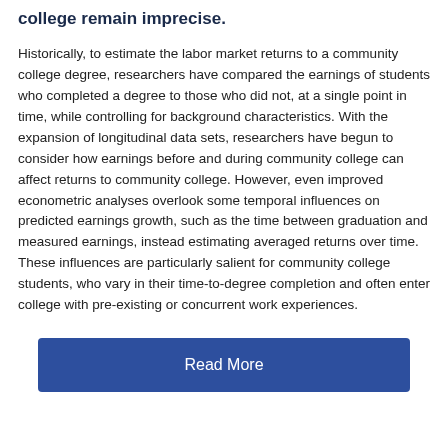college remain imprecise.
Historically, to estimate the labor market returns to a community college degree, researchers have compared the earnings of students who completed a degree to those who did not, at a single point in time, while controlling for background characteristics. With the expansion of longitudinal data sets, researchers have begun to consider how earnings before and during community college can affect returns to community college. However, even improved econometric analyses overlook some temporal influences on predicted earnings growth, such as the time between graduation and measured earnings, instead estimating averaged returns over time. These influences are particularly salient for community college students, who vary in their time-to-degree completion and often enter college with pre-existing or concurrent work experiences.
Read More